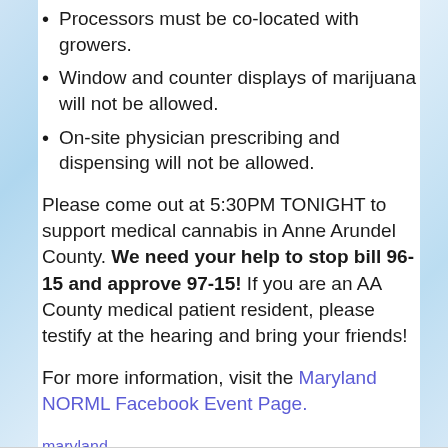Processors must be co-located with growers.
Window and counter displays of marijuana will not be allowed.
On-site physician prescribing and dispensing will not be allowed.
Please come out at 5:30PM TONIGHT to support medical cannabis in Anne Arundel County. We need your help to stop bill 96-15 and approve 97-15! If you are an AA County medical patient resident, please testify at the hearing and bring your friends!
For more information, visit the Maryland NORML Facebook Event Page.
maryland